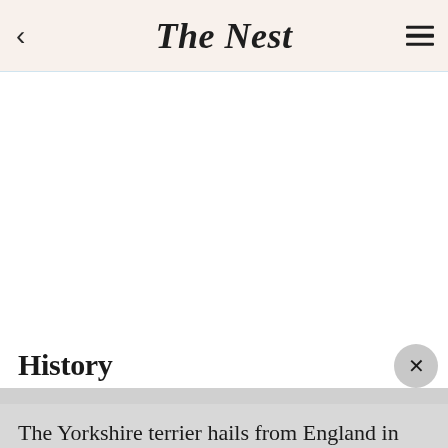The Nest
History
The Yorkshire terrier hails from England in the early